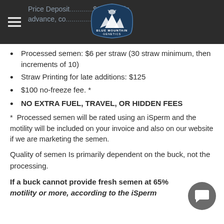Price Deposit ... $100 due in advance, co... ...days before
Processed semen: $6 per straw (30 straw minimum, then increments of 10)
Straw Printing for late additions: $125
$100 no-freeze fee. *
NO EXTRA FUEL, TRAVEL, OR HIDDEN FEES
*  Processed semen will be rated using an iSperm and the motility will be included on your invoice and also on our website if we are marketing the semen.
Quality of semen Is primarily dependent on the buck, not the processing.
If a buck cannot provide fresh semen at 65% motility or more, according to the iSperm